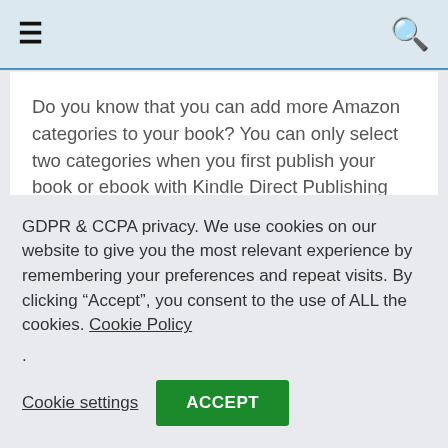≡  🔍
Do you know that you can add more Amazon categories to your book? You can only select two categories when you first publish your book or ebook with Kindle Direct Publishing (KDP).
Continue Reading
GDPR & CCPA privacy. We use cookies on our website to give you the most relevant experience by remembering your preferences and repeat visits. By clicking "Accept", you consent to the use of ALL the cookies. Cookie Policy
.
Cookie settings   ACCEPT